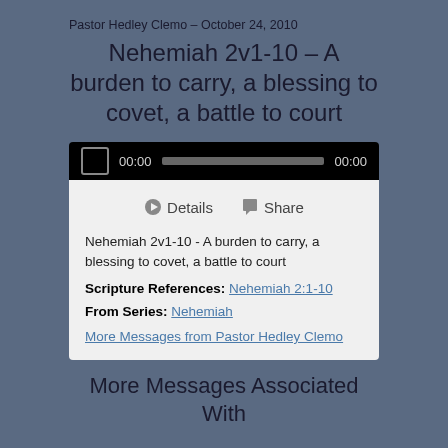Pastor Hedley Clemo – October 24, 2010
Nehemiah 2v1-10 – A burden to carry, a blessing to covet, a battle to court
[Figure (screenshot): Audio player widget with black bar showing play button, 00:00 time display, gray progress bar, and 00:00 end time. Below is a light gray panel with Details and Share tabs, sermon title text, Scripture References link to Nehemiah 2:1-10, From Series: Nehemiah link, and More Messages from Pastor Hedley Clemo link.]
More Messages Associated With